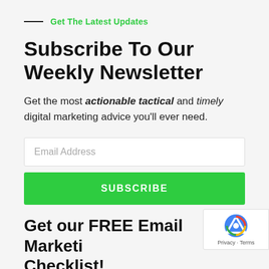Get The Latest Updates
Subscribe To Our Weekly Newsletter
Get the most actionable tactical and timely digital marketing advice you'll ever need.
[Figure (other): Email Address input field (placeholder text)]
[Figure (other): SUBSCRIBE button, green background]
Get our FREE Email Marketing Checklist!
[Figure (other): reCAPTCHA badge with logo and Privacy/Terms links]